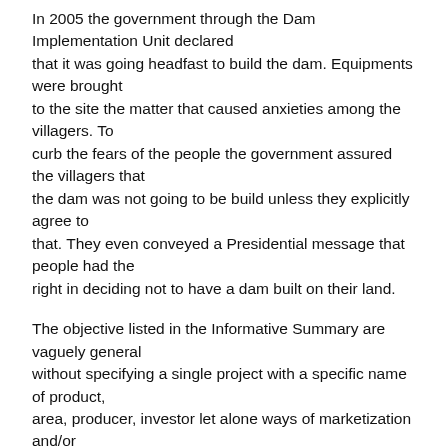In 2005 the government through the Dam Implementation Unit declared that it was going headfast to build the dam. Equipments were brought to the site the matter that caused anxieties among the villagers. To curb the fears of the people the government assured the villagers that the dam was not going to be build unless they explicitly agree to that. They even conveyed a Presidential message that people had the right in deciding not to have a dam built on their land.
The objective listed in the Informative Summary are vaguely general without specifying a single project with a specific name of product, area, producer, investor let alone ways of marketization and/or